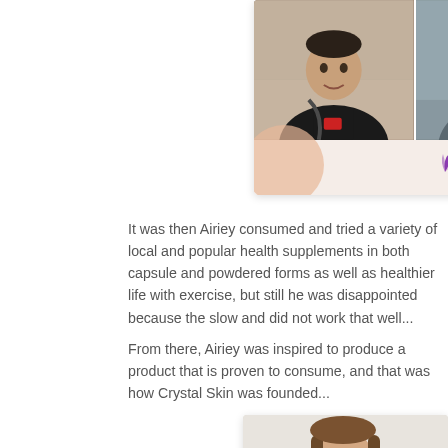[Figure (photo): Partially visible card showing two men in a before/after style photo with a 'RISH BEAUTY' logo and pink/peach decorative elements at the bottom]
It was then Airiey consumed and tried a variety of local and popular health supplements in both capsule and powdered forms as well as healthier life with exercise, but still he was disappointed because the slow and did not work that well...
From there, Airiey was inspired to produce a product that is proven to consume, and that was how Crystal Skin was founded...
[Figure (photo): Partial photo of a woman with shoulder-length hair, partially cropped at the bottom of the page]